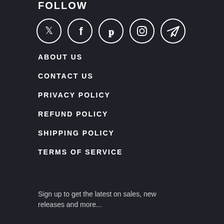FOLLOW
[Figure (illustration): Five social media icons in circles: Twitter, Facebook, Pinterest, Instagram, Telegram]
ABOUT US
CONTACT US
PRIVACY POLICY
REFUND POLICY
SHIPPING POLICY
TERMS OF SERVICE
Sign up to get the latest on sales, new releases and more...